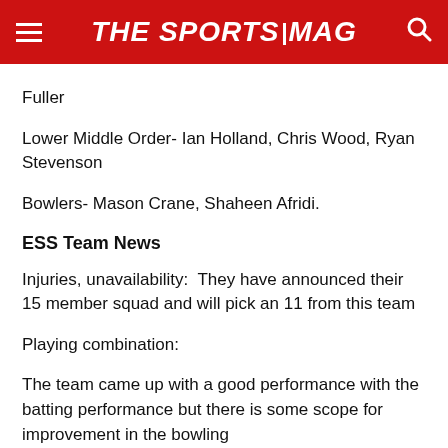THE SPORTS MAG
Fuller
Lower Middle Order- Ian Holland, Chris Wood, Ryan Stevenson
Bowlers- Mason Crane, Shaheen Afridi.
ESS Team News
Injuries, unavailability:  They have announced their 15 member squad and will pick an 11 from this team
Playing combination:
The team came up with a good performance with the batting performance but there is some scope for improvement in the bowling